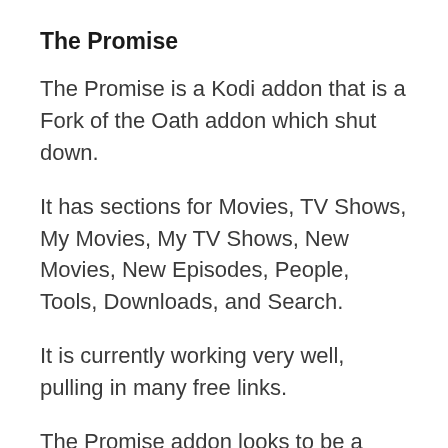The Promise
The Promise is a Kodi addon that is a Fork of the Oath addon which shut down.
It has sections for Movies, TV Shows, My Movies, My TV Shows, New Movies, New Episodes, People, Tools, Downloads, and Search.
It is currently working very well, pulling in many free links.
The Promise addon looks to be a good